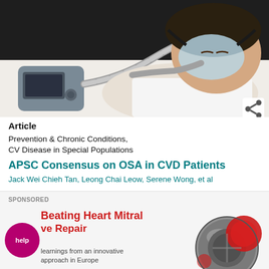[Figure (photo): Person lying in bed wearing a CPAP mask connected to a CPAP machine via a corrugated tube. The person is resting on white pillows and the machine is silver/grey.]
Article
Prevention & Chronic Conditions, CV Disease in Special Populations
APSC Consensus on OSA in CVD Patients
Jack Wei Chieh Tan, Leong Chai Leow, Serene Wong, et al
SPONSORED
[Figure (infographic): Sponsored ad for Beating Heart Mitral Valve Repair. Shows a pink/magenta circle with 'help' text, red title text 'Beating Heart Mitral ve Repair', subtitle 'learnings from an innovative approach in Europe', and a mechanical heart valve graphic on the right with red and grey design.]